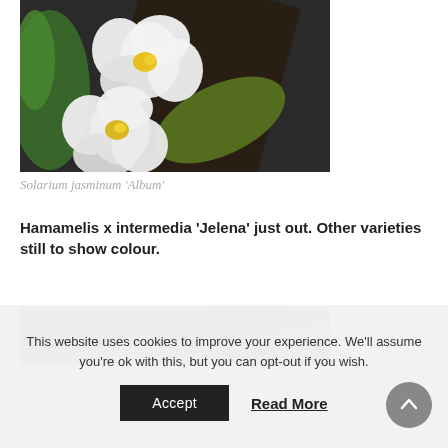[Figure (photo): Close-up photograph of white Solarium jasminum Album flowers with yellow stamens, green leaves and dark purple stem in background]
Solarium jasminum ‘Album’
Hamamelis x intermedia ‘Jelena’ just out. Other varieties still to show colour.
[Figure (photo): Partial view of a second plant photograph, mostly cropped]
This website uses cookies to improve your experience. We’ll assume you’re ok with this, but you can opt-out if you wish.
Accept
Read More